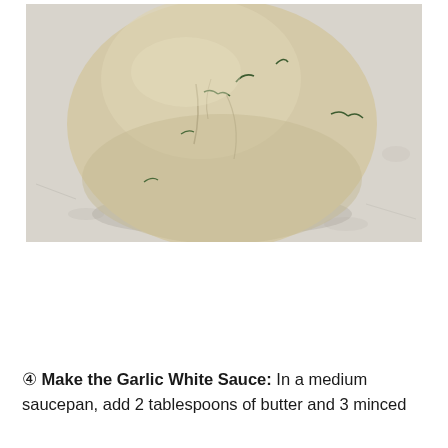[Figure (photo): A ball of herb-flecked dough (with visible rosemary or herb pieces) resting on a light grey/white floured surface, viewed from above.]
④ Make the Garlic White Sauce: In a medium saucepan, add 2 tablespoons of butter and 3 minced